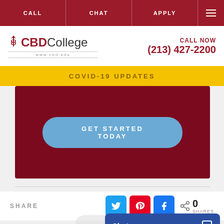CALL | CHAT | APPLY
[Figure (logo): CBD College logo with medical caduceus icon and www.cbd.edu URL]
CALL NOW (213) 427-2200
COVID-19 UPDATES
[Figure (other): Dark red hero banner with GET STARTED TODAY call-to-action button]
SHARE
0 SHARES
Chat now